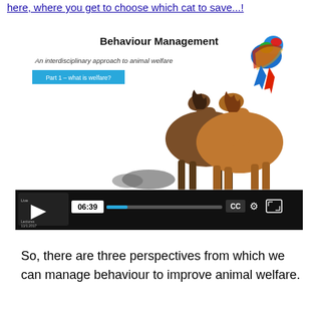here, where you get to choose which cat to save...!
[Figure (screenshot): Screenshot of a video player showing a lecture slide titled 'Behaviour Management' with subtitle 'An interdisciplinary approach to animal welfare', a cyan badge reading 'Part 1 - what is welfare?', animals including horses and a parrot visible, and video controls showing timestamp 06:39 with CC, settings, and fullscreen buttons.]
So, there are three perspectives from which we can manage behaviour to improve animal welfare.